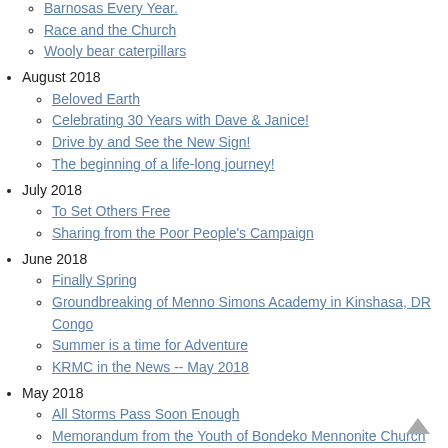Barnosas Every Year. (partial, cut off at top)
Race and the Church
Wooly bear caterpillars
August 2018
Beloved Earth
Celebrating 30 Years with Dave & Janice!
Drive by and See the New Sign!
The beginning of a life-long journey!
July 2018
To Set Others Free
Sharing from the Poor People's Campaign
June 2018
Finally Spring
Groundbreaking of Menno Simons Academy in Kinshasa, DR Congo
Summer is a time for Adventure
KRMC in the News -- May 2018
May 2018
All Storms Pass Soon Enough
Memorandum from the Youth of Bondeko Mennonite Church
April 2018
Going Viral
Nolo mi tangere
March 2018
Are You Ready To Go Deeper?